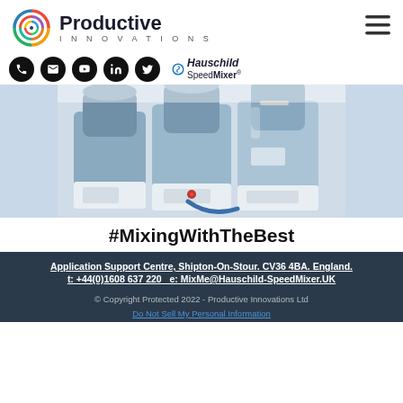[Figure (logo): Productive Innovations logo with swirl icon and company name]
[Figure (logo): Hauschild SpeedMixer brand logo with blue swirl]
[Figure (photo): Photo of Hauschild SpeedMixer industrial mixing machines in blue and white]
#MixingWithTheBest
Application Support Centre, Shipton-On-Stour. CV36 4BA. England. t: +44(0)1608 637 220   e: MixMe@Hauschild-SpeedMixer.UK
© Copyright Protected 2022 - Productive Innovations Ltd
Do Not Sell My Personal Information